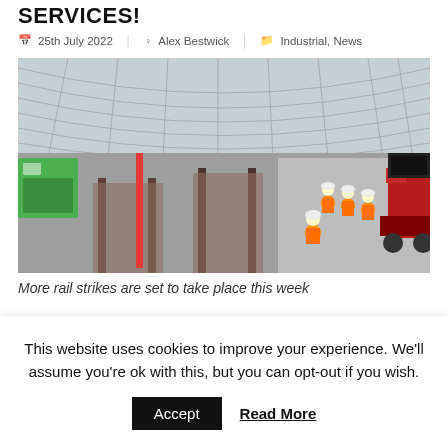SERVICES!
25th July 2022   Alex Bestwick   Industrial, News
[Figure (photo): Railway workers in orange high-visibility gear working on rail tracks inside a large train station with glass and iron roof structure. Construction machinery visible on the right.]
More rail strikes are set to take place this week
This website uses cookies to improve your experience. We'll assume you're ok with this, but you can opt-out if you wish.
Accept   Read More